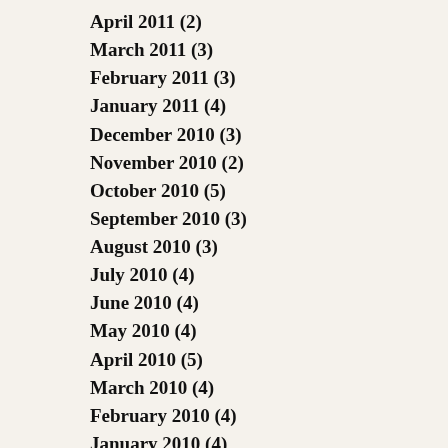April 2011 (2)
March 2011 (3)
February 2011 (3)
January 2011 (4)
December 2010 (3)
November 2010 (2)
October 2010 (5)
September 2010 (3)
August 2010 (3)
July 2010 (4)
June 2010 (4)
May 2010 (4)
April 2010 (5)
March 2010 (4)
February 2010 (4)
January 2010 (4)
December 2009 (5)
November 2009 (4)
October 2009 (3)